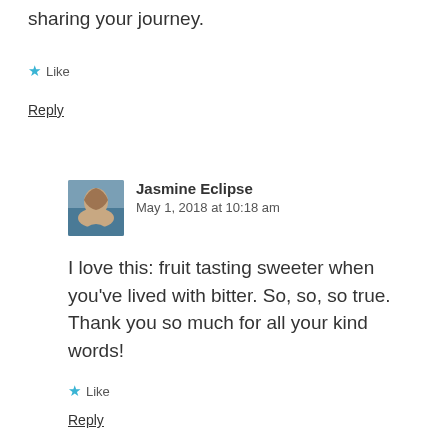sharing your journey.
★ Like
Reply
Jasmine Eclipse
May 1, 2018 at 10:18 am
I love this: fruit tasting sweeter when you've lived with bitter. So, so, so true. Thank you so much for all your kind words!
★ Like
Reply